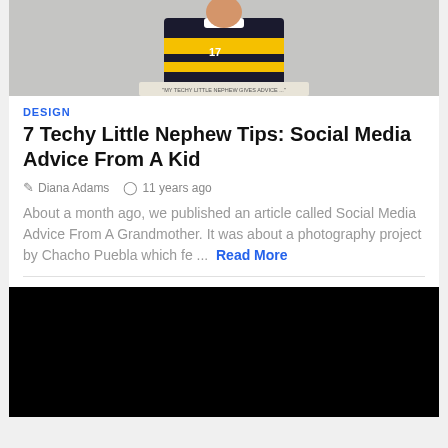[Figure (photo): Photo of a child wearing a black and yellow rugby jersey with number 17, possibly holding a sign. Gray background.]
DESIGN
7 Techy Little Nephew Tips: Social Media Advice From A Kid
Diana Adams   11 years ago
About a month ago, we published an article called Social Media Advice From A Grandmother. It was about a photography project by Chacho Puebla which fe ...  Read More
[Figure (photo): Dark/black image, appears to be a partially loaded or very dark photograph.]